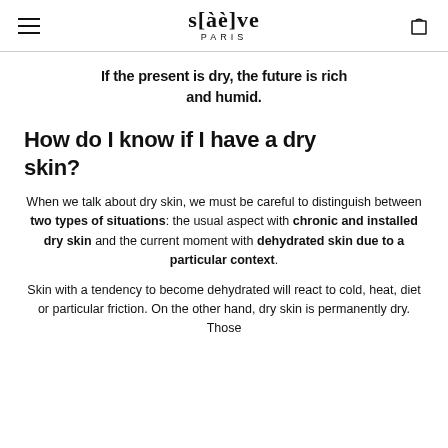s[àè]ve PARIS
If the present is dry, the future is rich and humid.
How do I know if I have a dry skin?
When we talk about dry skin, we must be careful to distinguish between two types of situations: the usual aspect with chronic and installed dry skin and the current moment with dehydrated skin due to a particular context.
Skin with a tendency to become dehydrated will react to cold, heat, diet or particular friction. On the other hand, dry skin is permanently dry. Those